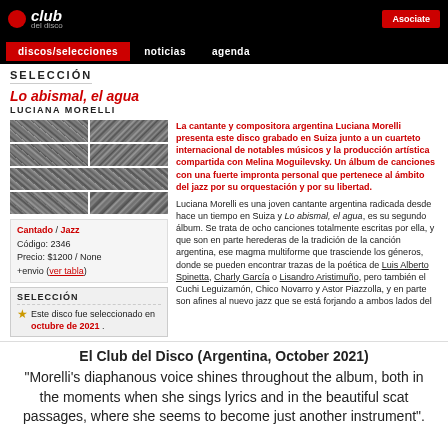Club del Disco | Asociate
discos/selecciones | noticias | agenda
SELECCIÓN
Lo abismal, el agua
LUCIANA MORELLI
[Figure (photo): Album cover grid of six black-and-white textured photo panels]
Cantado / Jazz
Código: 2346
Precio: $1200 / None
+envio (ver tabla)
SELECCIÓN
Este disco fue seleccionado en octubre de 2021 .
La cantante y compositora argentina Luciana Morelli presenta este disco grabado en Suiza junto a un cuarteto internacional de notables músicos y la producción artística compartida con Melina Moguilevsky. Un álbum de canciones con una fuerte impronta personal que pertenece al ámbito del jazz por su orquestación y por su libertad.
Luciana Morelli es una joven cantante argentina radicada desde hace un tiempo en Suiza y Lo abismal, el agua, es su segundo álbum. Se trata de ocho canciones totalmente escritas por ella, y que son en parte herederas de la tradición de la canción argentina, ese magma multiforme que trasciende los géneros, donde se pueden encontrar trazas de la poética de Luis Alberto Spinetta, Charly García o Lisandro Aristimuño, pero también el Cuchi Leguizamón, Chico Novarro y Astor Piazzolla, y en parte son afines al nuevo jazz que se está forjando a ambos lados del
El Club del Disco (Argentina, October 2021)
"Morelli's diaphanous voice shines throughout the album, both in the moments when she sings lyrics and in the beautiful scat passages, where she seems to become just another instrument".